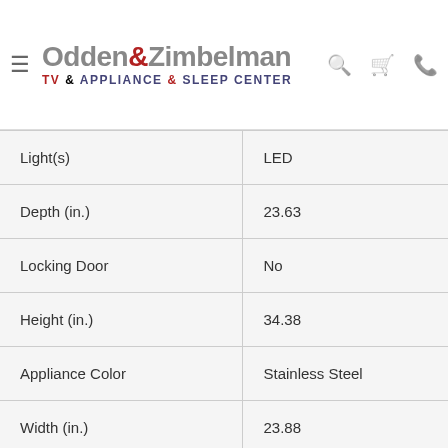Odden & Zimbelman TV & APPLIANCE & SLEEP CENTER
| Feature | Value |
| --- | --- |
| Light(s) | LED |
| Depth (in.) | 23.63 |
| Locking Door | No |
| Height (in.) | 34.38 |
| Appliance Color | Stainless Steel |
| Width (in.) | 23.88 |
| Wifi Capable | No |